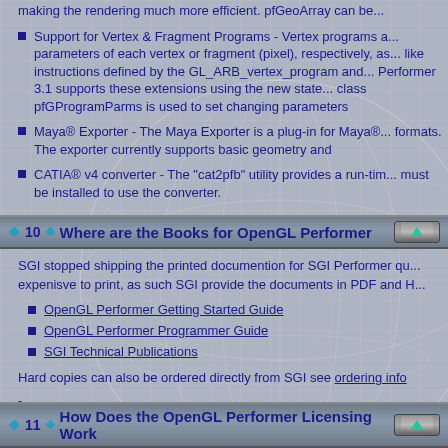Support for Vertex & Fragment Programs - Vertex programs allow you to modify parameters of each vertex or fragment (pixel), respectively, as a set of assembly like instructions defined by the GL_ARB_vertex_program and related extensions. Performer 3.1 supports these extensions using the new state class pfGProgram. The class pfGProgramParms is used to set changing parameters
Maya® Exporter - The Maya Exporter is a plug-in for Maya® that exports Maya formats. The exporter currently supports basic geometry and
CATIA® v4 converter - The "cat2pfb" utility provides a run-time converter. CATIA must be installed to use the converter.
10  Where are the Books for OpenGL Performer
SGI stopped shipping the printed documention for SGI Performer quite a while back. expenisve to print, as such SGI provide the documents in PDF and HTML format.
OpenGL Performer Getting Started Guide
OpenGL Performer Programmer Guide
SGI Technical Publications
Hard copies can also be ordered directly from SGI see ordering info
-
11  How Does the OpenGL Performer Licensing Work